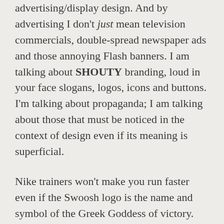advertising/display design. And by advertising I don't just mean television commercials, double-spread newspaper ads and those annoying Flash banners. I am talking about SHOUTY branding, loud in your face slogans, logos, icons and buttons. I'm talking about propaganda; I am talking about those that must be noticed in the context of design even if its meaning is superficial.
Nike trainers won't make you run faster even if the Swoosh logo is the name and symbol of the Greek Goddess of victory. Special K won't make you slimmer even if the picture on the cover says so and incidentally it contains more calories than Frosties. Which is GRREEEAAAAT. Or not. And that's the point of advertising; you see